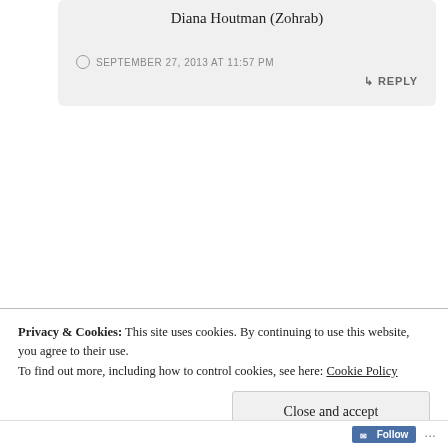Diana Houtman (Zohrab)
SEPTEMBER 27, 2013 AT 11:57 PM
↳ REPLY
zohrabcenter
We are located at the Eastern Diocese of the
Privacy & Cookies: This site uses cookies. By continuing to use this website, you agree to their use.
To find out more, including how to control cookies, see here: Cookie Policy
Close and accept
Follow